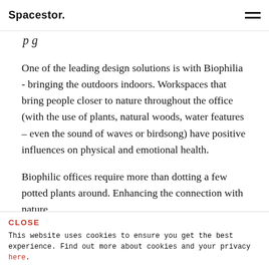Spacestor.
p g
One of the leading design solutions is with Biophilia - bringing the outdoors indoors. Workspaces that bring people closer to nature throughout the office (with the use of plants, natural woods, water features – even the sound of waves or birdsong) have positive influences on physical and emotional health.

Biophilic offices require more than dotting a few potted plants around. Enhancing the connection with nature
CLOSE
This website uses cookies to ensure you get the best experience. Find out more about cookies and your privacy here.